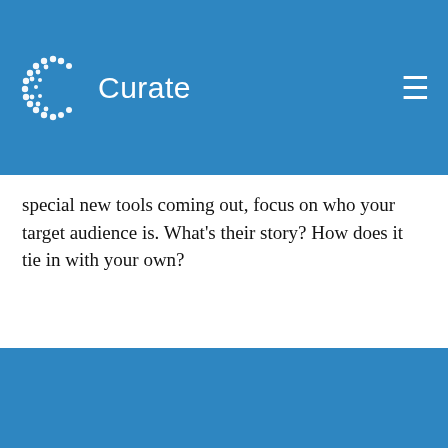Curate
special new tools coming out, focus on who your target audience is. What's their story? How does it tie in with your own?
Want to see our wedding florals contract template?
[Figure (photo): A pen resting on a document/contract paper]
In two steps, we'll shoot it your way! We created this for our wedding florals company and would love to share! There are very powerful clauses in here that might save you from a lawsuit.
Email It To Me!